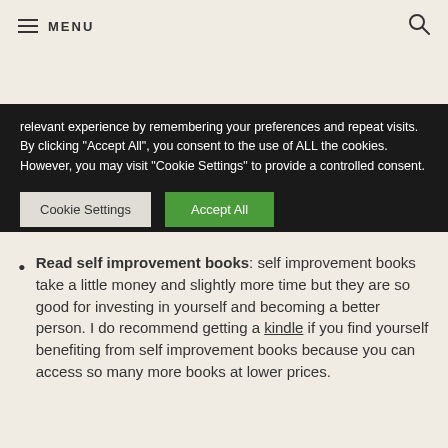MENU
relevant experience by remembering your preferences and repeat visits. By clicking "Accept All", you consent to the use of ALL the cookies. However, you may visit "Cookie Settings" to provide a controlled consent.
Cookie Settings | Accept All
Read self improvement books: self improvement books take a little money and slightly more time but they are so good for investing in yourself and becoming a better person. I do recommend getting a kindle if you find yourself benefiting from self improvement books because you can access so many more books at lower prices.